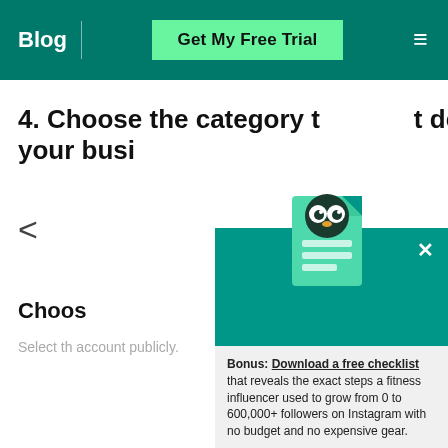Blog | Get My Free Trial
4. Choose the category that best describes your business
<
Choose
Select the account publicly.
[Figure (screenshot): Popup overlay with Hootsuite owl logo on a teal document icon, text promoting a free checklist about growing Instagram followers from 0 to 600,000+ with no budget, and a CTA button 'Get the free guide right now!']
Bonus: Download a free checklist that reveals the exact steps a fitness influencer used to grow from 0 to 600,000+ followers on Instagram with no budget and no expensive gear.
Get the free guide right now!